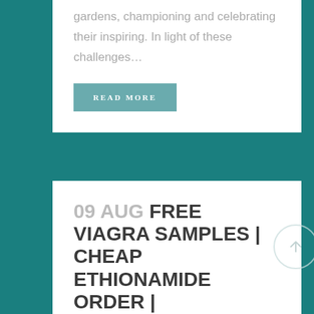gardens, championing and celebrating their inspiring. In light of these challenges…
READ MORE
09 AUG FREE VIAGRA SAMPLES | CHEAP ETHIONAMIDE ORDER |